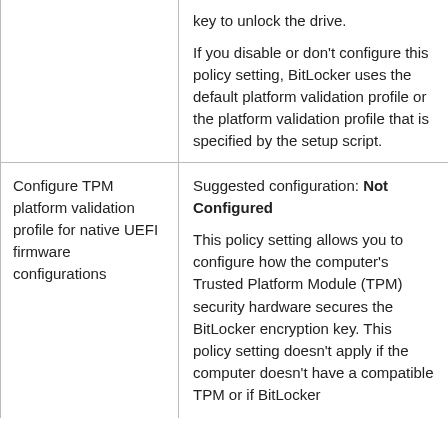| Policy Setting | Description |
| --- | --- |
|  | key to unlock the drive.

If you disable or don't configure this policy setting, BitLocker uses the default platform validation profile or the platform validation profile that is specified by the setup script. |
| Configure TPM platform validation profile for native UEFI firmware configurations | Suggested configuration: Not Configured

This policy setting allows you to configure how the computer's Trusted Platform Module (TPM) security hardware secures the BitLocker encryption key. This policy setting doesn't apply if the computer doesn't have a compatible TPM or if BitLocker |